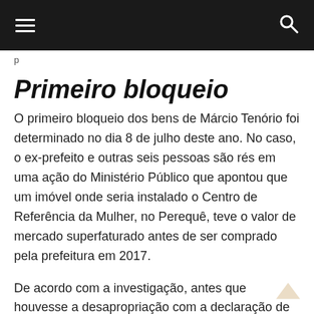☰   [navigation bar]   🔍
Primeiro bloqueio
O primeiro bloqueio dos bens de Márcio Tenório foi determinado no dia 8 de julho deste ano. No caso, o ex-prefeito e outras seis pessoas são rés em uma ação do Ministério Público que apontou que um imóvel onde seria instalado o Centro de Referência da Mulher, no Perequê, teve o valor de mercado superfaturado antes de ser comprado pela prefeitura em 2017.
De acordo com a investigação, antes que houvesse a desapropriação com a declaração de utilidade pública do imóvel foi feita uma avaliação de preço com a intenção de superfaturar o valor a ser pago